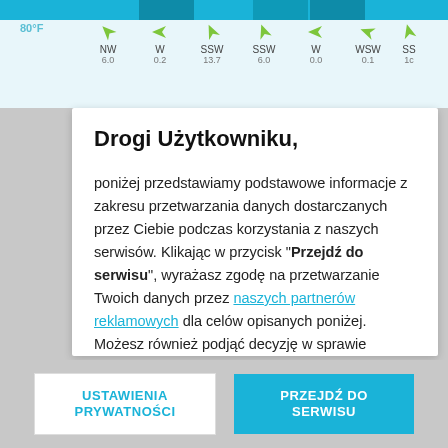[Figure (screenshot): Weather app strip at top showing temperature bar at 80°F with wind direction arrows (NW, W, SSW, SSW, W, WSW, SS) and wind speed values]
Drogi Użytkowniku,
poniżej przedstawiamy podstawowe informacje z zakresu przetwarzania danych dostarczanych przez Ciebie podczas korzystania z naszych serwisów. Klikając w przycisk "Przejdź do serwisu", wyrażasz zgodę na przetwarzanie Twoich danych przez naszych partnerów reklamowych dla celów opisanych poniżej. Możesz również podjąć decyzję w sprawie udzielenia zgody w ramach "Ustawień prywatności". Jeżeli chcesz podjąć tę decyzję przy innej okazji, to kliknij w przycisk "Przypomnij później". Bez dokonania zmian w ramach "Ustawień prywatności", Twoje dane
USTAWIENIA PRYWATNOŚCI
PRZEJDŹ DO SERWISU